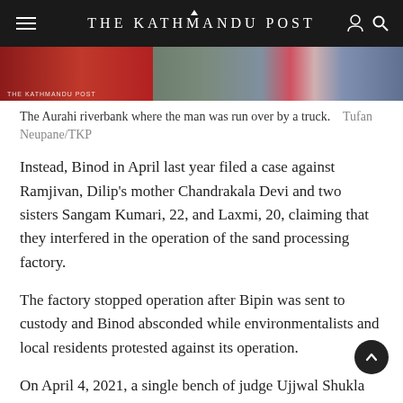THE KATHMANDU POST
[Figure (photo): A photograph of the Aurahi riverbank, partially cropped, showing red and colorful elements against a rocky/sandy background with people visible on the right side.]
The Aurahi riverbank where the man was run over by a truck.   Tufan Neupane/TKP
Instead, Binod in April last year filed a case against Ramjivan, Dilip's mother Chandrakala Devi and two sisters Sangam Kumari, 22, and Laxmi, 20, claiming that they interfered in the operation of the sand processing factory.
The factory stopped operation after Bipin was sent to custody and Binod absconded while environmentalists and local residents protested against its operation.
On April 4, 2021, a single bench of judge Ujjwal Shukla issued a show cause notice in the name of both parties.